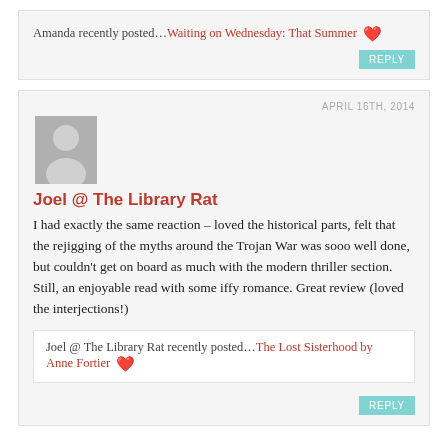Amanda recently posted…Waiting on Wednesday: That Summer
REPLY
APRIL 16TH, 2014
[Figure (illustration): Generic user avatar silhouette in grey square]
Joel @ The Library Rat
I had exactly the same reaction – loved the historical parts, felt that the rejigging of the myths around the Trojan War was sooo well done, but couldn't get on board as much with the modern thriller section. Still, an enjoyable read with some iffy romance. Great review (loved the interjections!)
Joel @ The Library Rat recently posted…The Lost Sisterhood by Anne Fortier
REPLY